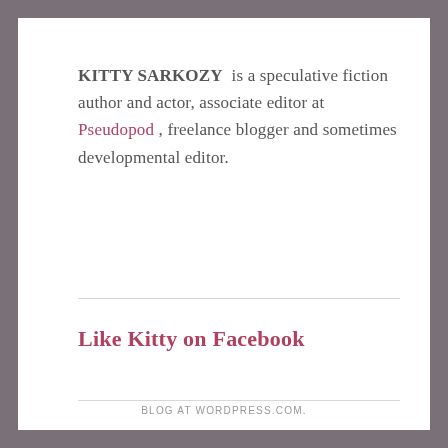KITTY SARKOZY  is a speculative fiction author and actor, associate editor at Pseudopod , freelance blogger and sometimes developmental editor.
Like Kitty on Facebook
BLOG AT WORDPRESS.COM.